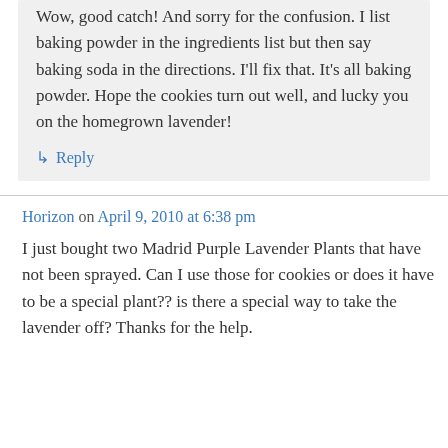Wow, good catch! And sorry for the confusion. I list baking powder in the ingredients list but then say baking soda in the directions. I'll fix that. It's all baking powder. Hope the cookies turn out well, and lucky you on the homegrown lavender!
↳ Reply
Horizon on April 9, 2010 at 6:38 pm
I just bought two Madrid Purple Lavender Plants that have not been sprayed. Can I use those for cookies or does it have to be a special plant?? is there a special way to take the lavender off? Thanks for the help.